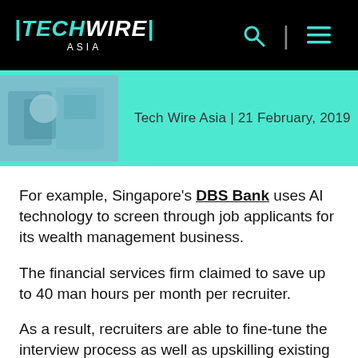TECHWIRE ASIA
[Figure (screenshot): Tech Wire Asia website header with logo, search icon, and hamburger menu on black background]
Tech Wire Asia | 21 February, 2019
For example, Singapore's DBS Bank uses AI technology to screen through job applicants for its wealth management business.
The financial services firm claimed to save up to 40 man hours per month per recruiter.
As a result, recruiters are able to fine-tune the interview process as well as upskilling existing employees.
Also, Malaysia's Hong Leong Bank analyzes